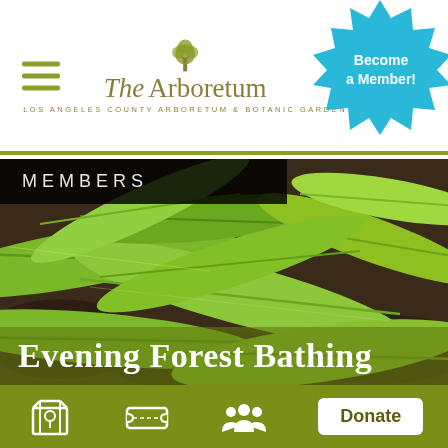[Figure (logo): The Arboretum logo with tree graphic and text 'The Arboretum - Los Angeles County Arboretum & Botanic Garden']
[Figure (illustration): Cyan starburst badge in top-right corner with text 'Become a Member!']
MEMBERS
[Figure (photo): Close-up photograph of bright green broad leaves with dark mulch visible underneath — forest bathing scene]
Evening Forest Bathing
[Figure (infographic): Bottom navigation bar with map icon, ticket icon, people/members icon, and Donate button on olive-green background]